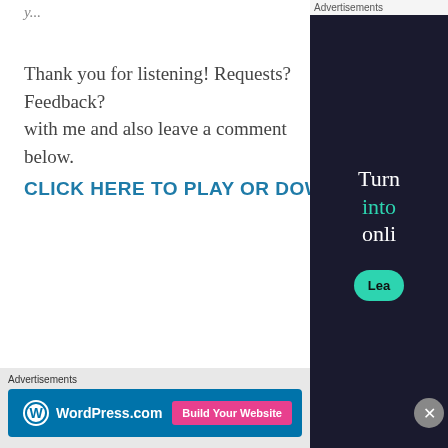Thank you for listening!  Requests? Feedback? with me and also leave a comment below.
CLICK HERE TO PLAY OR DOWNLOAD THIS
Advertisements
[Figure (other): Advertisement panel with dark background showing partial text 'Turn into onli' with teal color and a green 'Lea' button, plus a close (X) button]
Advertisements
[Figure (other): WordPress.com advertisement banner with blue background, WordPress logo and 'Build Your Website' pink button]